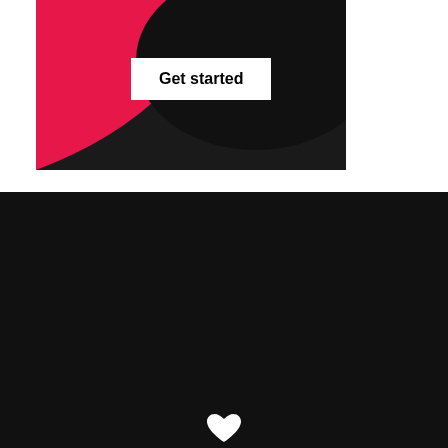[Figure (screenshot): TikTok-style banner image with pink and dark/black abstract shapes, with a white 'Get started' button overlaid]
[Figure (illustration): White heart icon centered on black background]
Search here...
© Copyright 2022 Manipulationships - Privacy Policy · Disclaimer · Terms & Conditions · Contact
Any information found on or derived from this website should not be a substitute for and cannot be relied on as any legal, medical, financial, marital, therapy or other professional advice. If you require any such advice, please consult with a licensed professional before taking any action.